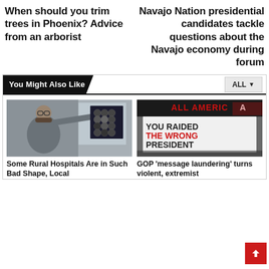When should you trim trees in Phoenix? Advice from an arborist
Navajo Nation presidential candidates tackle questions about the Navajo economy during forum
You Might Also Like
[Figure (photo): A man in glasses holding up a medical brain scan image in a clinical setting]
Some Rural Hospitals Are in Such Bad Shape, Local
[Figure (photo): A protest sign reading 'YOU RAIDED THE WRONG PRESIDENT' with red and blue text, with 'ALL AMERICAN' banner above]
GOP 'message laundering' turns violent, extremist